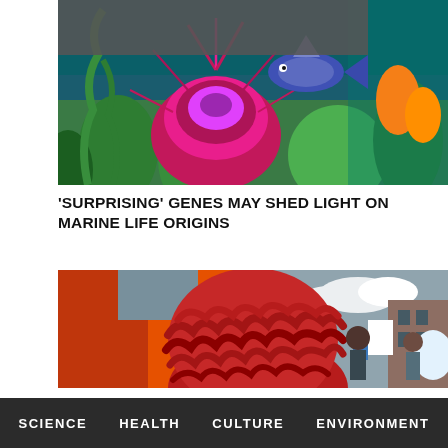[Figure (photo): Colorful underwater marine life scene with a vibrant pink/purple sea urchin or anemone and tropical fish among coral and green seaweed]
'SURPRISING' GENES MAY SHED LIGHT ON MARINE LIFE ORIGINS
[Figure (photo): Close-up of a person wearing a knitted red/burgundy brain-shaped hat at an outdoor event, with other people and a building in the background]
SCIENCE    HEALTH    CULTURE    ENVIRONMENT